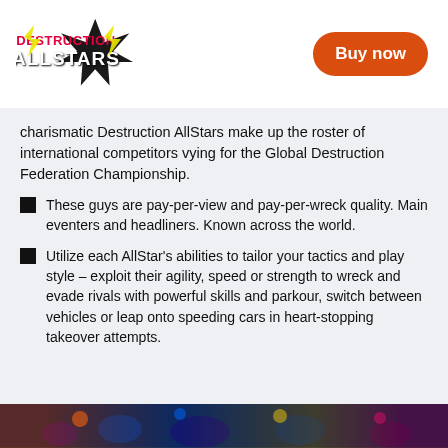Destruction AllStars — Buy now
charismatic Destruction AllStars make up the roster of international competitors vying for the Global Destruction Federation Championship.
These guys are pay-per-view and pay-per-wreck quality. Main eventers and headliners. Known across the world.
Utilize each AllStar's abilities to tailor your tactics and play style – exploit their agility, speed or strength to wreck and evade rivals with powerful skills and parkour, switch between vehicles or leap onto speeding cars in heart-stopping takeover attempts.
[Figure (photo): Bottom banner showing colorful game characters and action scenes from Destruction AllStars]